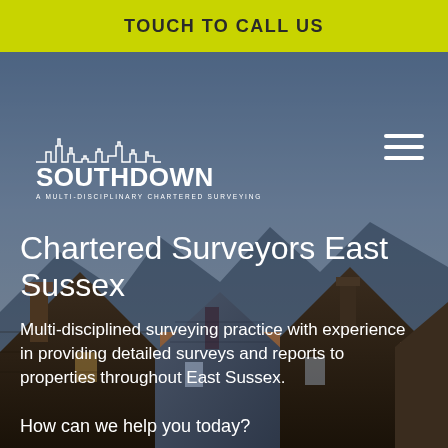TOUCH TO CALL US
[Figure (screenshot): Website screenshot showing Southdown Chartered Surveyors mobile homepage with background photo of Victorian rooftops against a blue-grey sky. White Southdown logo with skyline silhouette at top left, hamburger menu icon at top right.]
Chartered Surveyors East Sussex
Multi-disciplined surveying practice with experience in providing detailed surveys and reports to properties throughout East Sussex.
How can we help you today?